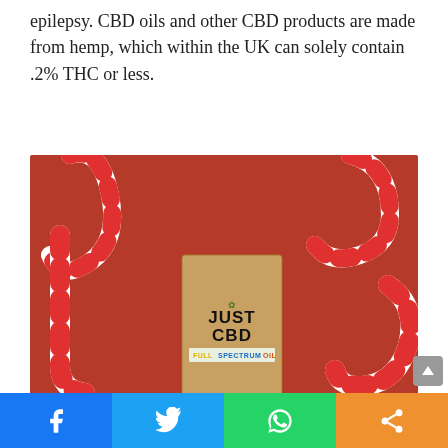epilepsy. CBD oils and other CBD products are made from hemp, which within the UK can solely contain .2% THC or less.
[Figure (photo): Photo of a JustCBD Full Spectrum Oil product box surrounded by red and white candy canes on a red background.]
Facebook | Twitter | WhatsApp | Share